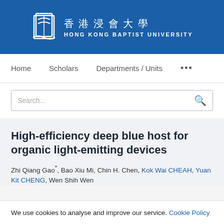[Figure (logo): Hong Kong Baptist University logo with book icon, Chinese text 香港浸會大學 and English text HONG KONG BAPTIST UNIVERSITY on blue background]
Home   Scholars   Departments / Units   ...
Search...
High-efficiency deep blue host for organic light-emitting devices
Zhi Qiang Gao*, Bao Xiu Mi, Chin H. Chen, Kok Wai CHEAH, Yuan Kit CHENG, Wen Shih Wen
We use cookies to analyse and improve our service. Cookie Policy